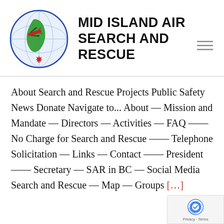[Figure (logo): Mid Island Air Search and Rescue circular logo with globe grid, green Vancouver Island silhouette, small aircraft, and red maple leaf at bottom, enclosed in blue circle]
MID ISLAND AIR SEARCH AND RESCUE
About Search and Rescue Projects Public Safety News Donate Navigate to... About — Mission and Mandate — Directors — Activities — FAQ —— No Charge for Search and Rescue —— Telephone Solicitation — Links — Contact —— President —— Secretary — SAR in BC — Social Media Search and Rescue — Map — Groups [...]